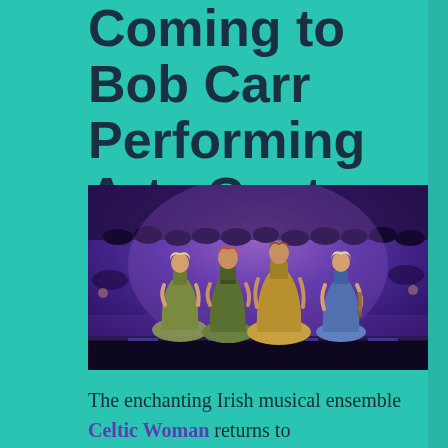Coming to Bob Carr Performing Arts Centre
[Figure (photo): Four women performers in formal ball gowns (gold and blue) on a stage with purple lighting and a large audience in the background]
The enchanting Irish musical ensemble Celtic Woman returns to